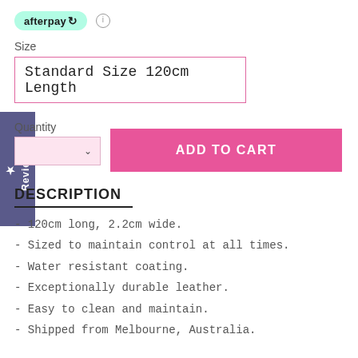[Figure (logo): Afterpay logo badge in mint green rounded rectangle with brand name and arrow symbol]
Size
Standard Size 120cm Length
Quantity
ADD TO CART
DESCRIPTION
- 120cm long, 2.2cm wide.
- Sized to maintain control at all times.
- Water resistant coating.
- Exceptionally durable leather.
- Easy to clean and maintain.
- Shipped from Melbourne, Australia.